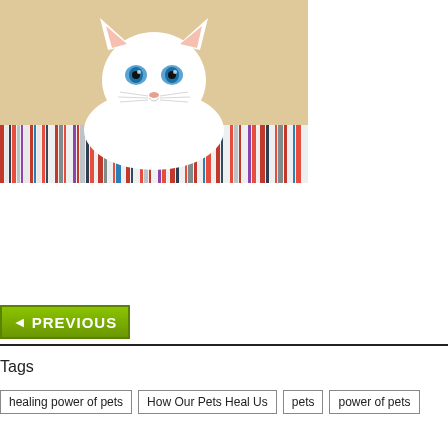[Figure (photo): White fluffy kitten with blue eyes sitting on a colorful striped cushion against a beige background]
[Figure (other): Green PREVIOUS navigation button with left-pointing triangle arrow]
Tags
healing power of pets
How Our Pets Heal Us
pets
power of pets